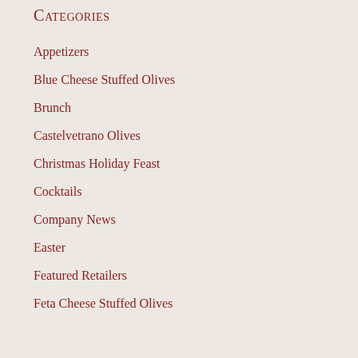Categories
Appetizers
Blue Cheese Stuffed Olives
Brunch
Castelvetrano Olives
Christmas Holiday Feast
Cocktails
Company News
Easter
Featured Retailers
Feta Cheese Stuffed Olives
Fourth of July
Garlic Stuffed Olives
Halloween Fun
Health